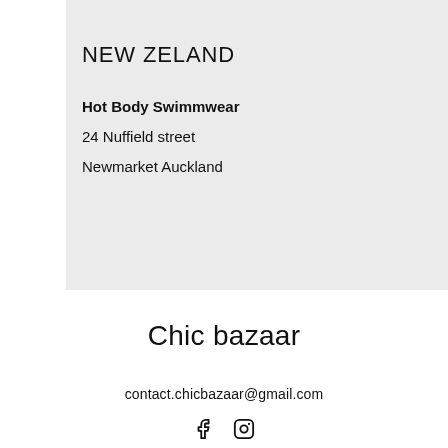NEW ZELAND
Hot Body Swimmwear
24 Nuffield street
Newmarket Auckland
Chic bazaar
contact.chicbazaar@gmail.com
[Figure (illustration): Facebook and Instagram social media icons]